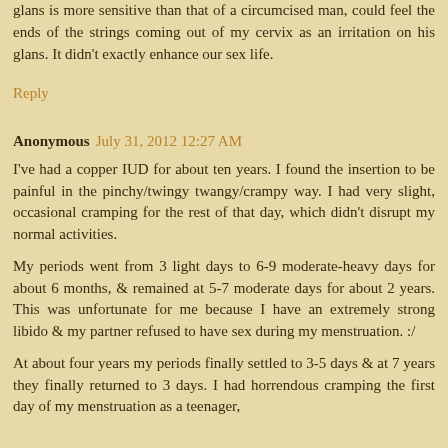glans is more sensitive than that of a circumcised man, could feel the ends of the strings coming out of my cervix as an irritation on his glans. It didn't exactly enhance our sex life.
Reply
Anonymous July 31, 2012 12:27 AM
I've had a copper IUD for about ten years. I found the insertion to be painful in the pinchy/twingy twangy/crampy way. I had very slight, occasional cramping for the rest of that day, which didn't disrupt my normal activities.
My periods went from 3 light days to 6-9 moderate-heavy days for about 6 months, & remained at 5-7 moderate days for about 2 years. This was unfortunate for me because I have an extremely strong libido & my partner refused to have sex during my menstruation. :/
At about four years my periods finally settled to 3-5 days & at 7 years they finally returned to 3 days. I had horrendous cramping the first day of my menstruation as a teenager,